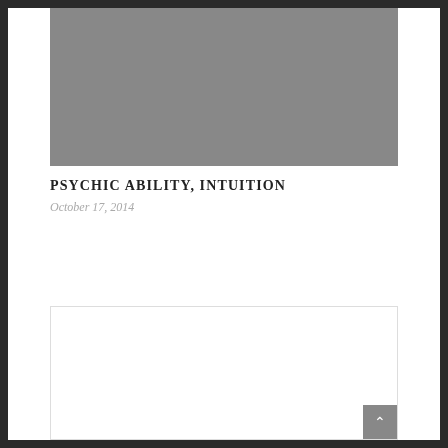[Figure (photo): Gray placeholder image/banner at the top of the page]
PSYCHIC ABILITY, INTUITION
October 17, 2014
[Figure (other): White comment/content box with border at the bottom of the page]